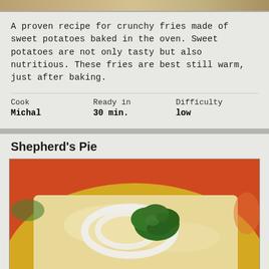[Figure (photo): Top cropped image strip of sweet potato fries or food item]
A proven recipe for crunchy fries made of sweet potatoes baked in the oven. Sweet potatoes are not only tasty but also nutritious. These fries are best still warm, just after baking.
| Cook | Ready in | Difficulty |
| --- | --- | --- |
| Michal | 30 min. | low |
Shepherd's Pie
[Figure (photo): Shepherd's Pie dish on an orange-yellow plate, topped with white onion rings and fresh parsley garnish]